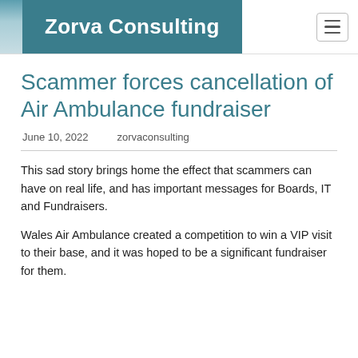Zorva Consulting
Scammer forces cancellation of Air Ambulance fundraiser
June 10, 2022    zorvaconsulting
This sad story brings home the effect that scammers can have on real life, and has important messages for Boards, IT and Fundraisers.
Wales Air Ambulance created a competition to win a VIP visit to their base, and it was hoped to be a significant fundraiser for them.